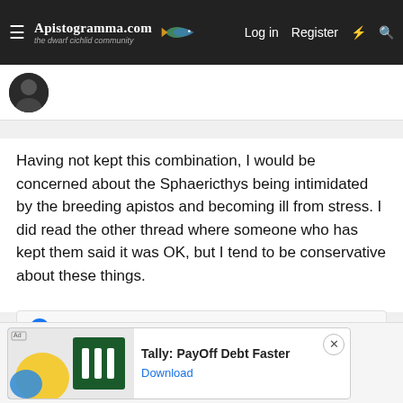Apistogramma.com — the dwarf cichlid community | Log in | Register
[Figure (screenshot): User avatar thumbnail (dark circular profile photo)]
Having not kept this combination, I would be concerned about the Sphaericthys being intimidated by the breeding apistos and becoming ill from stress. I did read the other thread where someone who has kept them said it was OK, but I tend to be conservative about these things.
MacZ
[Figure (infographic): Advertisement banner: Tally: PayOff Debt Faster — Download]